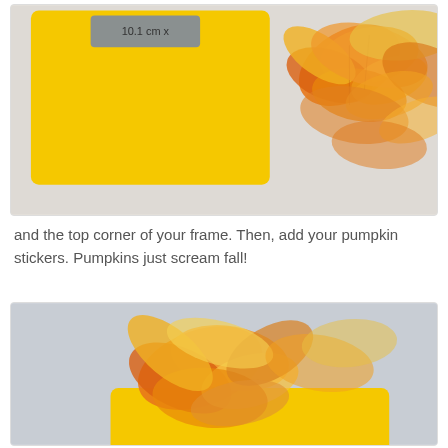[Figure (photo): Photo of a yellow picture frame with a label showing '10.1 cm x' and orange/yellow autumn leaves placed in the top right corner, set on a light grey surface.]
and the top corner of your frame. Then, add your pumpkin stickers. Pumpkins just scream fall!
[Figure (photo): Photo showing orange and yellow autumn leaves arranged on top of the corner of a yellow picture frame, set on a light blue-grey surface.]